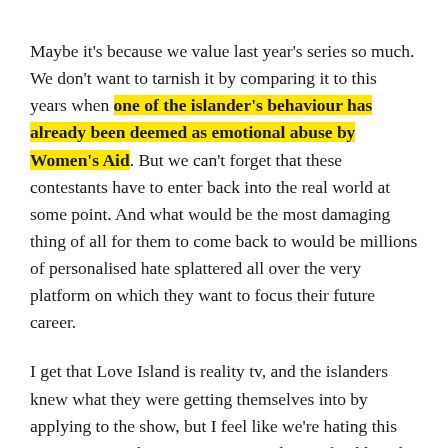Maybe it's because we value last year's series so much. We don't want to tarnish it by comparing it to this years when one of the islander's behaviour has already been deemed as emotional abuse by Women's Aid. But we can't forget that these contestants have to enter back into the real world at some point. And what would be the most damaging thing of all for them to come back to would be millions of personalised hate splattered all over the very platform on which they want to focus their future career.
I get that Love Island is reality tv, and the islanders knew what they were getting themselves into by applying to the show, but I feel like we're hating this year's cast just because we can. And quite frankly, I'd rather we put all this energy into making sure Jack and Dani stay together, instead.